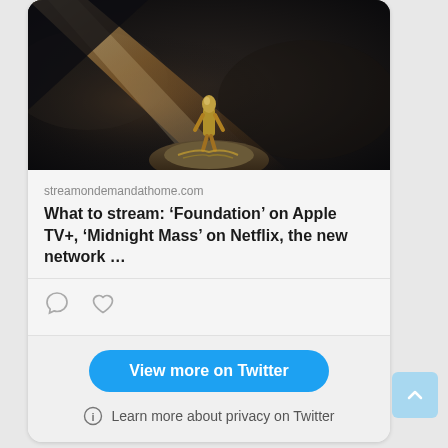[Figure (photo): Dark cinematic scene showing a metallic figure/statue on a rocky surface with a diagonal beam of golden/warm light from upper left against a dark smoky background — promotional image for Apple TV+ show 'Foundation']
streamondemandathome.com
What to stream: ‘Foundation’ on Apple TV+, ‘Midnight Mass’ on Netflix, the new network …
[Figure (other): Comment icon (speech bubble outline)]
[Figure (other): Like/heart icon (heart outline)]
View more on Twitter
Learn more about privacy on Twitter